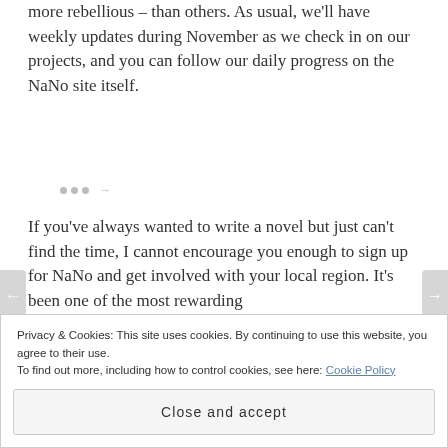more rebellious – than others. As usual, we'll have weekly updates during November as we check in on our projects, and you can follow our daily progress on the NaNo site itself.
If you've always wanted to write a novel but just can't find the time, I cannot encourage you enough to sign up for NaNo and get involved with your local region. It's been one of the most rewarding
Privacy & Cookies: This site uses cookies. By continuing to use this website, you agree to their use.
To find out more, including how to control cookies, see here: Cookie Policy
Close and accept